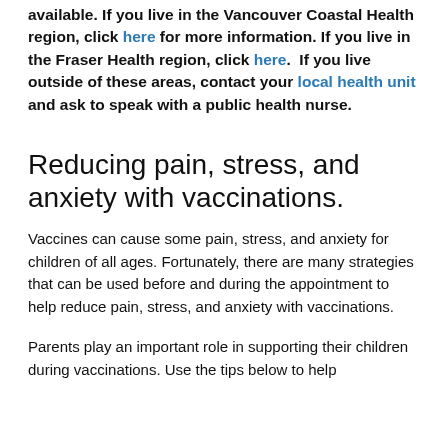available. If you live in the Vancouver Coastal Health region, click here for more information. If you live in the Fraser Health region, click here.  If you live outside of these areas, contact your local health unit and ask to speak with a public health nurse.
Reducing pain, stress, and anxiety with vaccinations.
Vaccines can cause some pain, stress, and anxiety for children of all ages. Fortunately, there are many strategies that can be used before and during the appointment to help reduce pain, stress, and anxiety with vaccinations.
Parents play an important role in supporting their children during vaccinations. Use the tips below to help